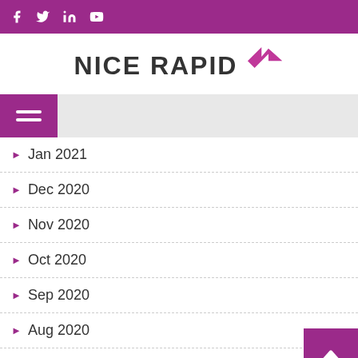Social media icons bar (Facebook, Twitter, LinkedIn, YouTube)
[Figure (logo): NICE RAPID logo with pink arrow icon]
Jan 2021
Dec 2020
Nov 2020
Oct 2020
Sep 2020
Aug 2020
Jul 2020
Jun 2020
May 2020